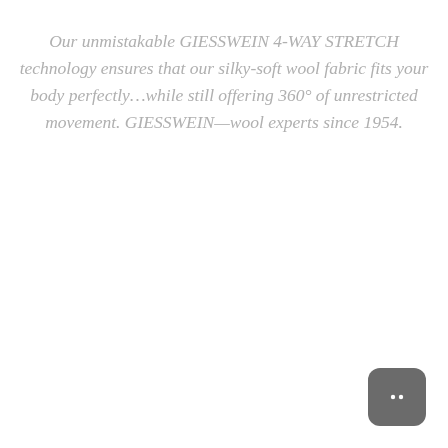Our unmistakable GIESSWEIN 4-WAY STRETCH technology ensures that our silky-soft wool fabric fits your body perfectly…while still offering 360° of unrestricted movement. GIESSWEIN—wool experts since 1954.
[Figure (other): Chat/messaging button icon — rounded square dark grey button with two speech bubble dots]